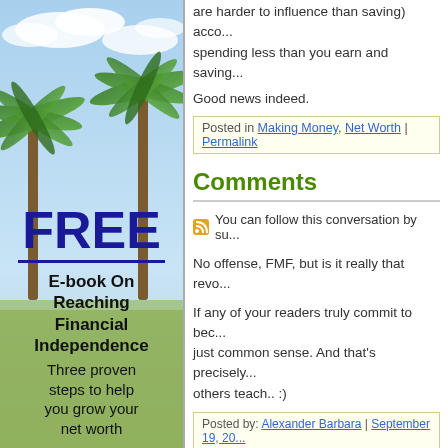are harder to influence than saving) acco... spending less than you earn and saving...
Good news indeed.
Posted in Making Money, Net Worth | Permalink
Comments
You can follow this conversation by su...
No offense, FMF, but is it really that revo...
If any of your readers truly commit to bec... just common sense. And that's precisely... others teach.. :)
Posted by: Alexander Barbara | September 19, 20...
Based on my experince, this is a revoluti... people -- at least the ones that have com...
Most people think/assume that you have... simply not the case. Hence, it's revolutio...
[Figure (illustration): Advertisement banner showing a tropical beach scene with palm trees and blue sky. Text reads: FREE (large bold blue text), E-book On Reaching Financial Independence, Three proven steps to help you grow your net worth]